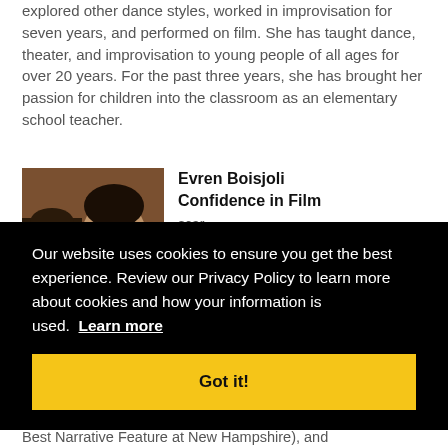explored other dance styles, worked in improvisation for seven years, and performed on film. She has taught dance, theater, and improvisation to young people of all ages for over 20 years. For the past three years, she has brought her passion for children into the classroom as an elementary school teacher.
[Figure (photo): Photo of two men, one in the foreground with dark hair, another partially visible to the left, in a warm indoor setting.]
Evren Boisjoli Confidence in Film
...scar- ... ...ear ...rable ...ICI, Best Narrative Feature at New Hampshire), and
Our website uses cookies to ensure you get the best experience. Review our Privacy Policy to learn more about cookies and how your information is used. Learn more
Got it!